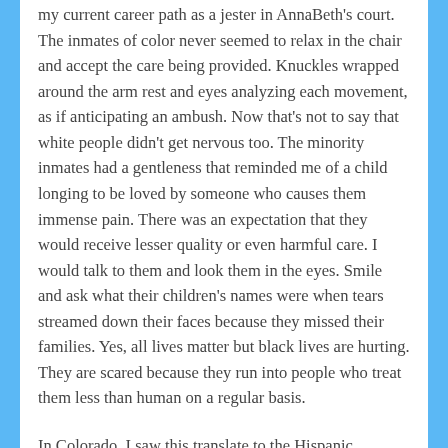my current career path as a jester in AnnaBeth's court. The inmates of color never seemed to relax in the chair and accept the care being provided. Knuckles wrapped around the arm rest and eyes analyzing each movement, as if anticipating an ambush. Now that's not to say that white people didn't get nervous too. The minority inmates had a gentleness that reminded me of a child longing to be loved by someone who causes them immense pain. There was an expectation that they would receive lesser quality or even harmful care. I would talk to them and look them in the eyes. Smile and ask what their children's names were when tears streamed down their faces because they missed their families. Yes, all lives matter but black lives are hurting. They are scared because they run into people who treat them less than human on a regular basis.
In Colorado, I saw this translate to the Hispanic community too. So. Much. Racism. Here's where I start to deviate. The "All Lives Matter" debate. At some point, the last few years, saying All Lives Matter became a political position, rather than the true statement it was...